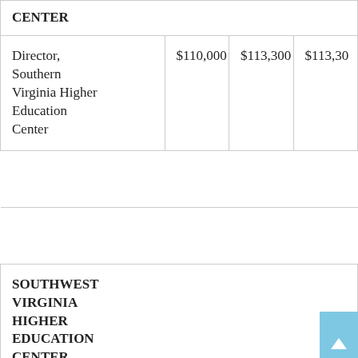| CENTER |  |  |  |
| --- | --- | --- | --- |
| Director, Southern Virginia Higher Education Center | $110,000 | $113,300 | $113,30 |
|  |  |  |  |
|  |  |  |  |
| SOUTHWEST VIRGINIA HIGHER EDUCATION CENTER |  |  |  |